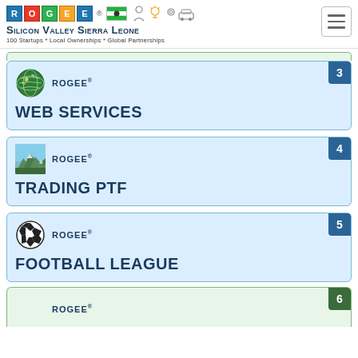ROGEE® SILICON VALLEY SIERRA LEONE 100 Startups * Local Ownerships * Global Partnerships
3 ROGEE® WEB SERVICES
4 ROGEE® TRADING PTF
5 ROGEE® FOOTBALL LEAGUE
6 ROGEE®